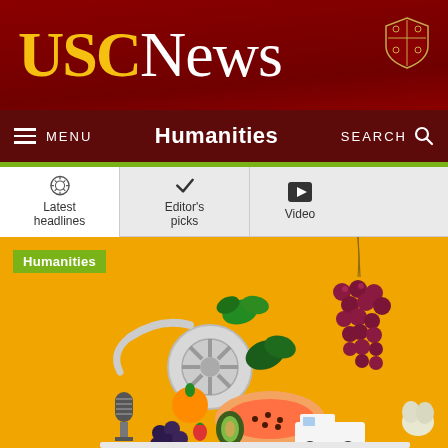USC News
Humanities
MENU
SEARCH
Latest headlines
Editor's picks
Video
Humanities
[Figure (photo): Colorful food and media items arrangement on a golden yellow background including fruit, vegetables, a film reel, microphone, and a small truck, with a bunch of red grapes hanging from a string.]